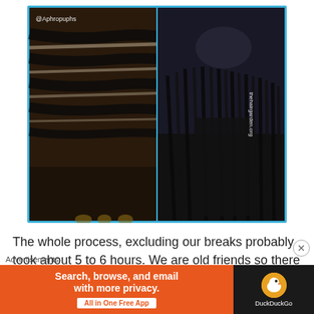[Figure (photo): Two side-by-side photos of braided hairstyles. Left photo shows large cornrow braids from a top-down perspective with '@Aphropuphs' watermark. Right photo shows thin box braids hanging loose, viewed from behind, with 'thehairgarden.org' watermark. Both images are framed with a blue border.]
The whole process, excluding our breaks probably took about 5 to 6 hours. We are old friends so there was a lot of clowning going on during the process and I think the whole trip just went really by...
Advertisements
[Figure (screenshot): DuckDuckGo advertisement banner. Orange left section with white bold text 'Search, browse, and email with more privacy.' and white pill button 'All in One Free App'. Black right section with DuckDuckGo duck logo and 'DuckDuckGo' label in white.]